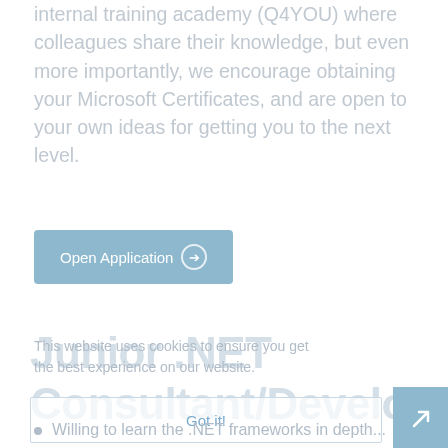internal training academy (Q4YOU) where colleagues share their knowledge, but even more importantly, we encourage obtaining your Microsoft Certificates, and are open to your own ideas for getting you to the next level.
Open Application →
This website uses cookies to ensure you get the best experience on our website.
Junior .NET Consultant/Developer
Got it!
Willing to learn the .NET frameworks in depth...